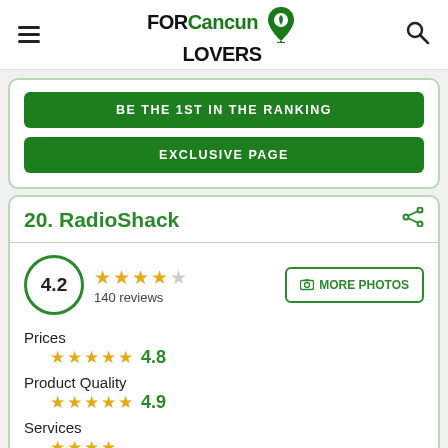FOR Cancun LOVERS
BE THE 1ST IN THE RANKING
EXCLUSIVE PAGE
20. RadioShack
4.2  140 reviews
MORE PHOTOS
Prices
4.8
Product Quality
4.9
Services